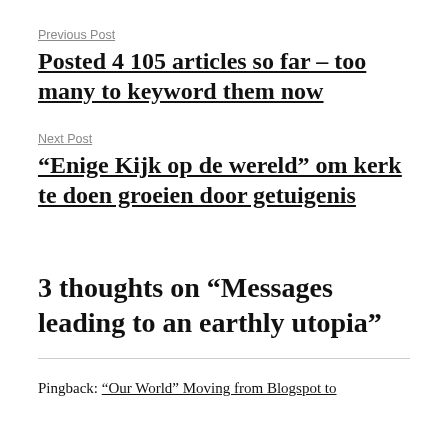Previous Post
Posted 4 105 articles so far – too many to keyword them now
Next Post
“Enige Kijk op de wereld” om kerk te doen groeien door getuigenis
3 thoughts on “Messages leading to an earthly utopia”
Pingback: “Our World” Moving from Blogspot to